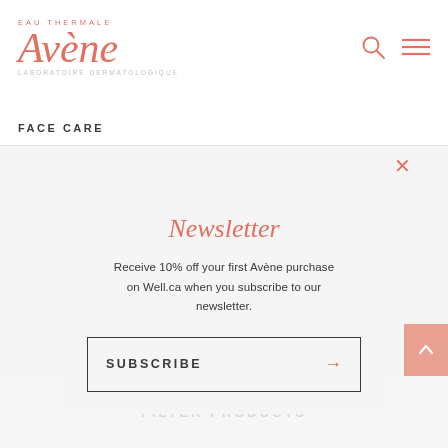[Figure (logo): Avène Eau Thermale brand logo in salmon/coral color with italic serif font and 'LABORATOIRE DERMATOLOGIQUE' subtitle]
FACE CARE
Newsletter
Receive 10% off your first Avène purchase on Well.ca when you subscribe to our newsletter.
SUBSCRIBE
FILTER PRODUCTS